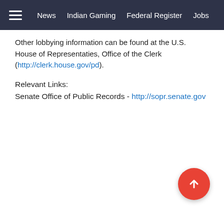≡  News  Indian Gaming  Federal Register  Jobs
Other lobbying information can be found at the U.S. House of Representaties, Office of the Clerk (http://clerk.house.gov/pd).
Relevant Links:
Senate Office of Public Records - http://sopr.senate.gov